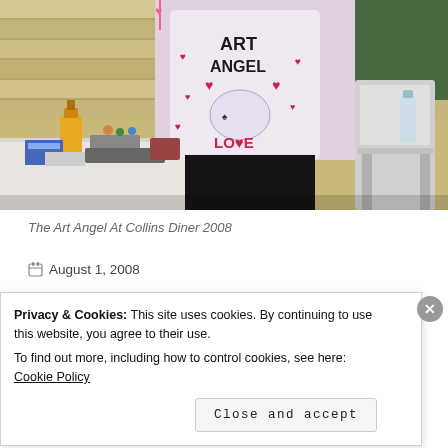[Figure (photo): Person wearing an 'Art Angel Love' apron standing behind a table with art supplies and items at Collins Diner 2008. Wooden slat background visible, folding chair on the right side.]
The Art Angel At Collins Diner 2008
August 1, 2008
Privacy & Cookies: This site uses cookies. By continuing to use this website, you agree to their use. To find out more, including how to control cookies, see here: Cookie Policy
Close and accept